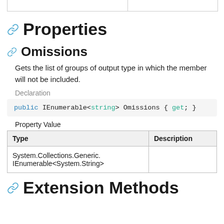|  |  |
| --- | --- |
|  |  |
Properties
Omissions
Gets the list of groups of output type in which the member will not be included.
Declaration
public IEnumerable<string> Omissions { get; }
Property Value
| Type | Description |
| --- | --- |
| System.Collections.Generic.
IEnumerable<System.String> |  |
Extension Methods